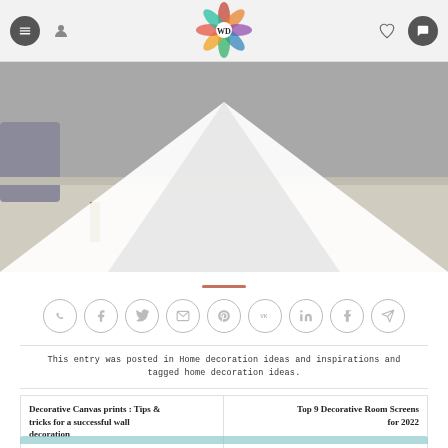WD website header with navigation icons and logo
[Figure (photo): Interior room photo with white chevron/arrow overlay pointing upward, showing a room with gray sofa and wooden furniture leg on a light floor]
[Figure (infographic): Row of 9 social sharing icon circles: WhatsApp, Facebook, Twitter, Email, Pinterest, VK, LinkedIn, Tumblr, Telegram]
This entry was posted in Home decoration ideas and inspirations and tagged home decoration ideas.
Decorative Canvas prints : Tips & tricks for a successful wall decoration
Top 9 Decorative Room Screens for 2022